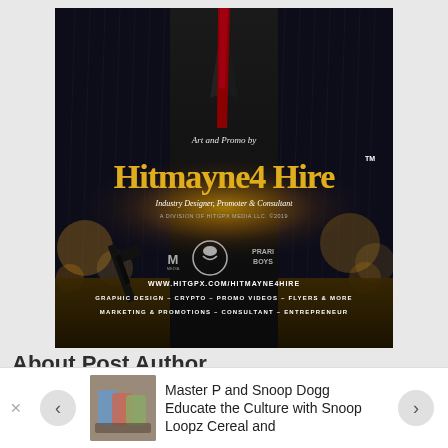[Figure (illustration): Promotional graphic for 'Hitmayne 4 Hire' — a man in a dark suit with a red tie standing in rain holding a gun, with golden glowing text overlay reading 'Art and Promo by Hitmayne4Hire' and tagline 'Industry Designer, Promoter & Consultant'. Logos for associated brands at bottom, with website URL www.hitgpx.com/hitmayne4hire and services listed: Graphic Design, Crypto, Promo Videos, Flyers & More, Marketing & Promotions, Consultant, Entrepreneur.]
About Post Author
[Figure (photo): Thumbnail image of Snoop Loopz cereal products for navigation item]
Master P and Snoop Dogg Educate the Culture with Snoop Loopz Cereal and